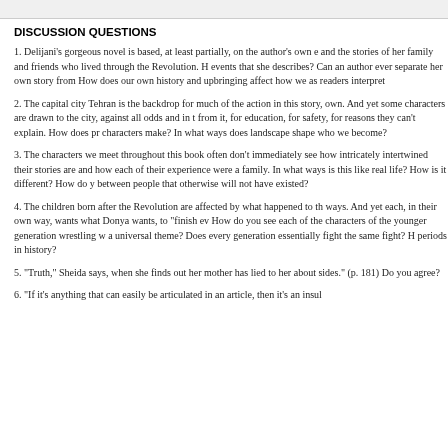DISCUSSION QUESTIONS
1. Delijani's gorgeous novel is based, at least partially, on the author's own e and the stories of her family and friends who lived through the Revolution. H events that she describes? Can an author ever separate her own story from How does our own history and upbringing affect how we as readers interpret
2. The capital city Tehran is the backdrop for much of the action in this story, own. And yet some characters are drawn to the city, against all odds and in t from it, for education, for safety, for reasons they can't explain. How does pr characters make? In what ways does landscape shape who we become?
3. The characters we meet throughout this book often don't immediately see how intricately intertwined their stories are and how each of their experience were a family. In what ways is this like real life? How is it different? How do y between people that otherwise will not have existed?
4. The children born after the Revolution are affected by what happened to th ways. And yet each, in their own way, wants what Donya wants, to "finish ev How do you see each of the characters of the younger generation wrestling w a universal theme? Does every generation essentially fight the same fight? H periods in history?
5. "Truth," Sheida says, when she finds out her mother has lied to her about sides." (p. 181) Do you agree?
6. "If it's anything that can easily be articulated in an article, then it's an insul